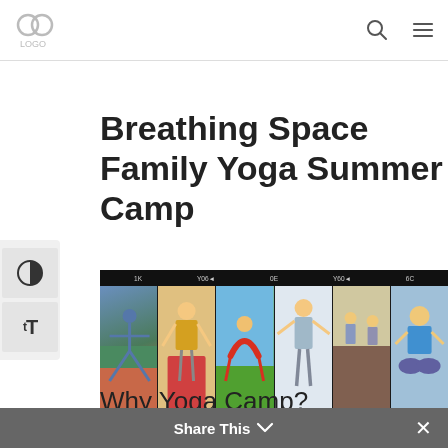[Logo] [Search icon] [Menu icon]
Breathing Space Family Yoga Summer Camp
[Figure (photo): A horizontal filmstrip-style photo collage showing children doing yoga poses: a child in a triangle pose on a mat, a girl in yellow shirt doing art/yoga activity, a child in a backbend on grass, a boy standing with arms out, children doing yoga outdoors, and a girl sitting cross-legged.]
Why Yoga Camp?
Breathing Space summer camp provides children w...
Share This ∨  ✕